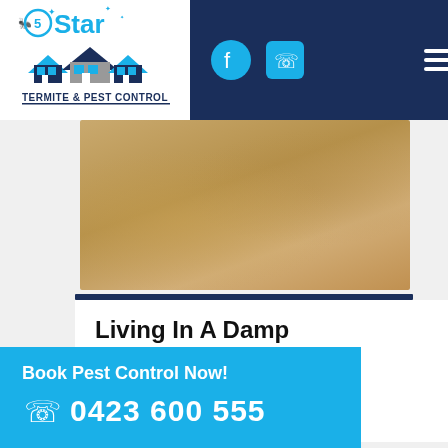[Figure (logo): 5 Star Termite & Pest Control logo with blue text and house/pest graphic]
[Figure (other): Navigation bar with Facebook icon, phone icon, and hamburger menu on dark navy background]
[Figure (photo): Close-up photo of a damp/moist brownish surface, possibly wood or wall with moisture damage]
Living In A Damp Environment
moist ... se has a basement they love to feel like home there.
[Figure (infographic): Cyan/sky-blue CTA banner: 'Book Pest Control Now!' with phone number 0423 600 555 and phone icon]